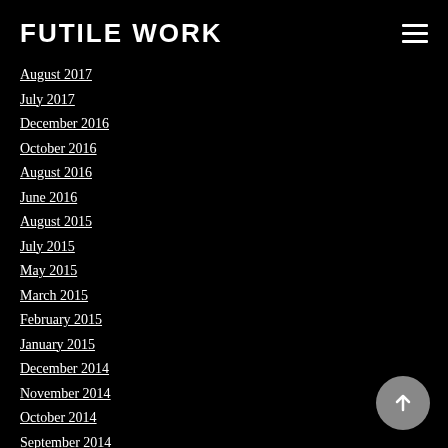FUTILE WORK
August 2017
July 2017
December 2016
October 2016
August 2016
June 2016
August 2015
July 2015
May 2015
March 2015
February 2015
January 2015
December 2014
November 2014
October 2014
September 2014
January 2013